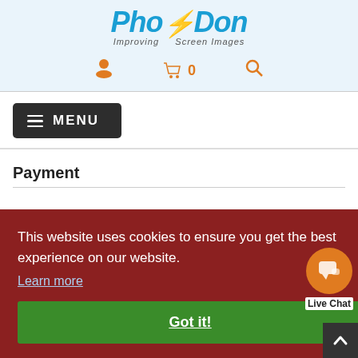[Figure (logo): PhotoDon logo with tagline 'Improving Screen Images' in blue and orange italic text]
[Figure (screenshot): Header navigation icons: user/account icon, shopping cart with '0', and search icon, all in orange]
[Figure (screenshot): Dark navigation menu button with hamburger icon and MENU text]
Payment
This website uses cookies to ensure you get the best experience on our website.
Learn more
Got it!
[Figure (screenshot): Live Chat button with orange circle containing chat bubble icon and 'Live Chat' label]
[Figure (screenshot): Bottom logos including Authorize.net and Sectigo security badges, and a back-to-top arrow button]